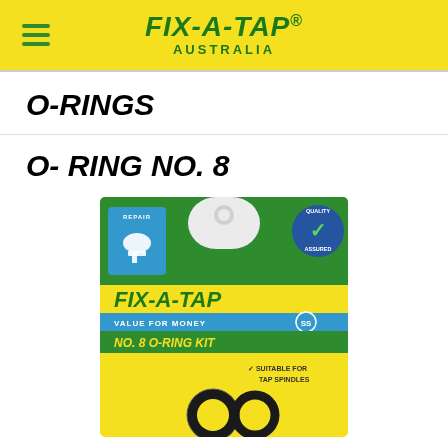FIX-A-TAP. AUSTRALIA
O-RINGS
O- RING NO. 8
[Figure (photo): Product packaging for Fix-A-Tap No. 8 O-Ring Kit on yellow card with green branding, blue tap icon, quality assurance badge, showing the o-ring itself at the bottom. Text reads: FIX-A-TAP, VALUE FOR MONEY, SS, NO. 8 O-RING KIT, SUITABLE FOR TAP SPINDLES.]